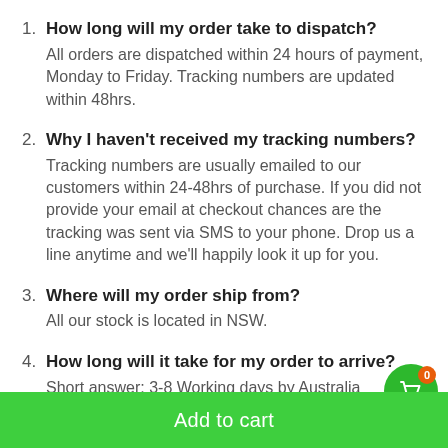1. How long will my order take to dispatch? All orders are dispatched within 24 hours of payment, Monday to Friday. Tracking numbers are updated within 48hrs.
2. Why I haven't received my tracking numbers? Tracking numbers are usually emailed to our customers within 24-48hrs of purchase. If you did not provide your email at checkout chances are the tracking was sent via SMS to your phone. Drop us a line anytime and we'll happily look it up for you.
3. Where will my order ship from? All our stock is located in NSW.
4. How long will it take for my order to arrive? Short answer; 3-8 Working days by Australia